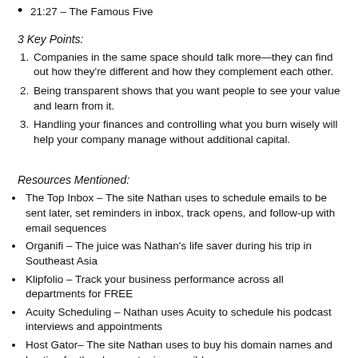21:27 – The Famous Five
3 Key Points:
Companies in the same space should talk more—they can find out how they're different and how they complement each other.
Being transparent shows that you want people to see your value and learn from it.
Handling your finances and controlling what you burn wisely will help your company manage without additional capital.
Resources Mentioned:
The Top Inbox – The site Nathan uses to schedule emails to be sent later, set reminders in inbox, track opens, and follow-up with email sequences
Organifi – The juice was Nathan's life saver during his trip in Southeast Asia
Klipfolio – Track your business performance across all departments for FREE
Acuity Scheduling – Nathan uses Acuity to schedule his podcast interviews and appointments
Host Gator– The site Nathan uses to buy his domain names and hosting for the cheapest price possible